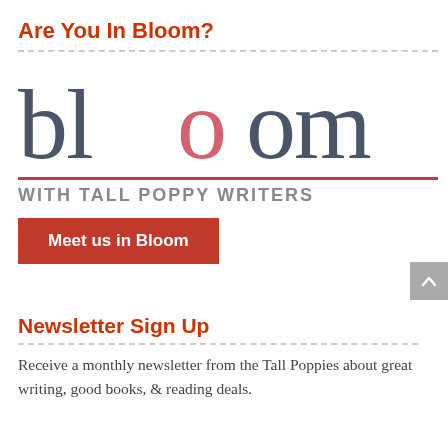Are You In Bloom?
[Figure (logo): Bloom with Tall Poppy Writers logo — large serif 'bloom' text in dark gray with a red circular accent on the second 'o', red underline, and 'WITH TALL POPPY WRITERS' subtitle in gray uppercase sans-serif]
Meet us in Bloom
Newsletter Sign Up
Receive a monthly newsletter from the Tall Poppies about great writing, good books, & reading deals.